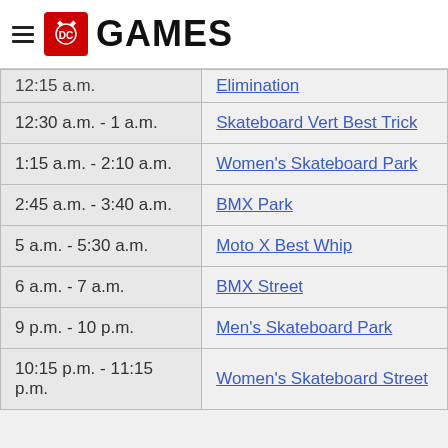X Games
| Time | Event |
| --- | --- |
| 12:15 a.m. | Elimination |
| 12:30 a.m. - 1 a.m. | Skateboard Vert Best Trick |
| 1:15 a.m. - 2:10 a.m. | Women's Skateboard Park |
| 2:45 a.m. - 3:40 a.m. | BMX Park |
| 5 a.m. - 5:30 a.m. | Moto X Best Whip |
| 6 a.m. - 7 a.m. | BMX Street |
| 9 p.m. - 10 p.m. | Men's Skateboard Park |
| 10:15 p.m.  - 11:15 p.m. | Women's Skateboard Street |